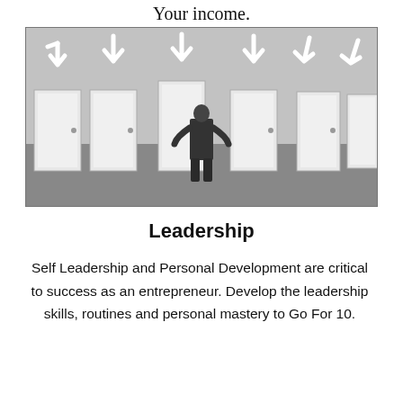Your income.
[Figure (photo): Black and white photo of a businessman in a suit standing with hands on hips, facing away from camera, looking at six white doors in a row with large white arrows pointing down at each door]
Leadership
Self Leadership and Personal Development are critical to success as an entrepreneur. Develop the leadership skills, routines and personal mastery to Go For 10.